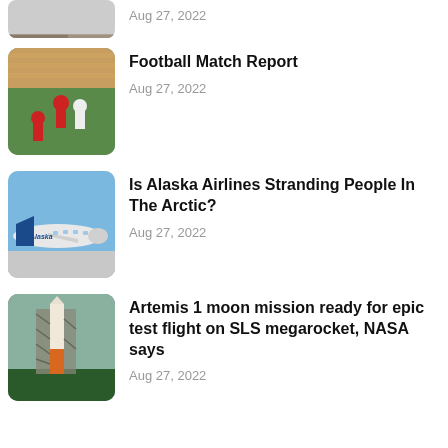[Figure (photo): Partial view of a sports/crowd photo, cropped at top]
Aug 27, 2022
[Figure (photo): Football players celebrating on pitch in red and white jerseys]
Football Match Report
Aug 27, 2022
[Figure (photo): Alaska Airlines airplane on tarmac]
Is Alaska Airlines Stranding People In The Arctic?
Aug 27, 2022
[Figure (photo): Rocket on launch pad with scaffolding and trees in foreground]
Artemis 1 moon mission ready for epic test flight on SLS megarocket, NASA says
Aug 27, 2022